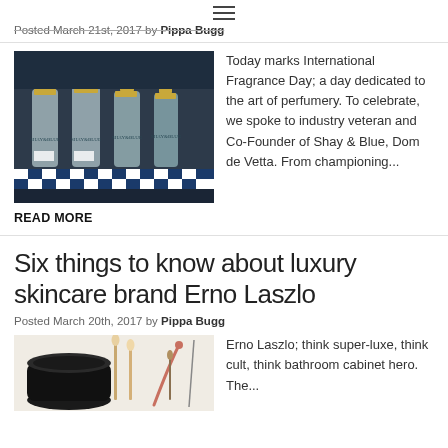Posted March 21st, 2017 by Pippa Bugg
[Figure (photo): Perfume bottles on a shelf with blue and white striped base, labeled Shay & Blue]
Today marks International Fragrance Day; a day dedicated to the art of perfumery. To celebrate, we spoke to industry veteran and Co-Founder of Shay & Blue, Dom de Vetta. From championing...
READ MORE
Six things to know about luxury skincare brand Erno Laszlo
Posted March 20th, 2017 by Pippa Bugg
[Figure (photo): Skincare tools and implements including brushes and applicators on white background]
Erno Laszlo; think super-luxe, think cult, think bathroom cabinet hero. The...